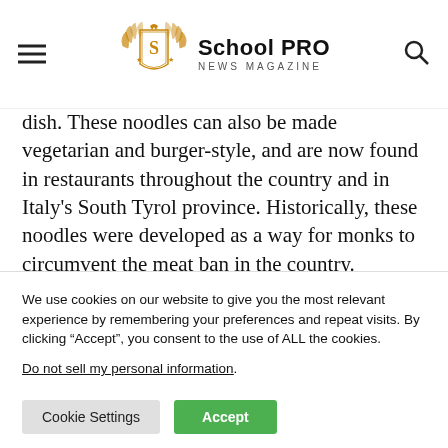School PRO NEWS MAGAZINE
dish. These noodles can also be made vegetarian and burger-style, and are now found in restaurants throughout the country and in Italy's South Tyrol province. Historically, these noodles were developed as a way for monks to circumvent the meat ban in the country.

The German word spaetzle has a poetic origin. The
We use cookies on our website to give you the most relevant experience by remembering your preferences and repeat visits. By clicking “Accept”, you consent to the use of ALL the cookies.
Do not sell my personal information.
Cookie Settings  Accept